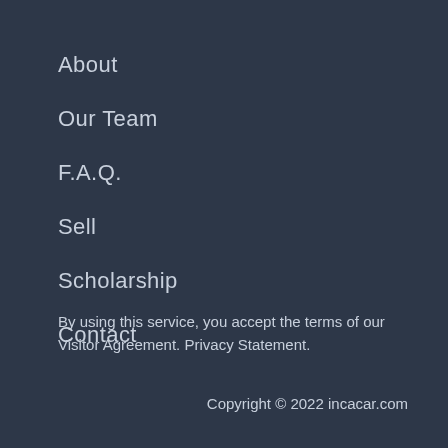About
Our Team
F.A.Q.
Sell
Scholarship
Contact
By using this service, you accept the terms of our Visitor Agreement. Privacy Statement.
Copyright © 2022 incacar.com